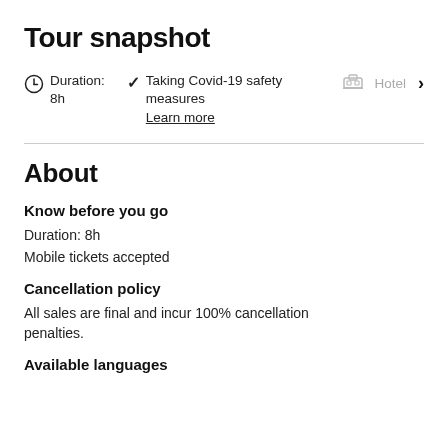Tour snapshot
Duration: 8h | Taking Covid-19 safety measures Learn more | Hotel (partially visible)
About
Know before you go
Duration: 8h
Mobile tickets accepted
Cancellation policy
All sales are final and incur 100% cancellation penalties.
Available languages